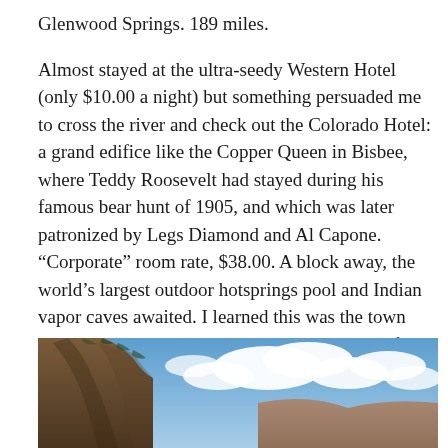Glenwood Springs. 189 miles.
Almost stayed at the ultra-seedy Western Hotel (only $10.00 a night) but something persuaded me to cross the river and check out the Colorado Hotel: a grand edifice like the Copper Queen in Bisbee, where Teddy Roosevelt had stayed during his famous bear hunt of 1905, and which was later patronized by Legs Diamond and Al Capone. “Corporate” room rate, $38.00. A block away, the world’s largest outdoor hotsprings pool and Indian vapor caves awaited. I learned this was the town where Doc Holliday died, in 1887, at the age of 35.
[Figure (photo): Landscape photograph showing rocky canyon cliffs on the left side with a blue sky filled with white clouds above, and distant reddish-brown hills in the background on the right.]